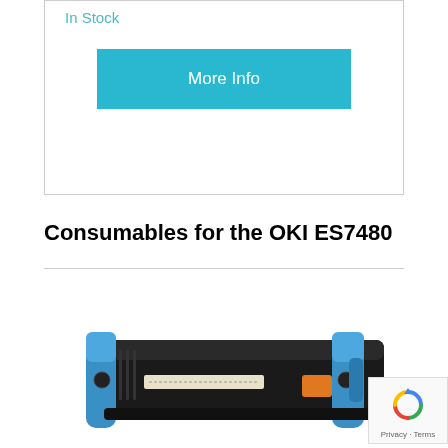In Stock
More Info
Consumables for the OKI ES7480
[Figure (photo): OKI ES7480 printer drum/fuser unit — black rectangular printer component with blue plastic end caps and an orange accent, photographed on white background]
[Figure (logo): Google reCAPTCHA badge with spinning arrow logo and Privacy - Terms text]